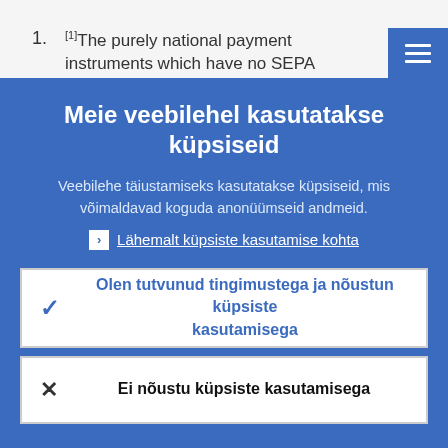[1]The purely national payment instruments which have no SEPA
[Figure (screenshot): Hamburger menu icon (three horizontal lines) in a blue square button, top right corner]
Meie veebilehel kasutatakse küpsiseid
Veebilehe täiustamiseks kasutatakse küpsiseid, mis võimaldavad koguda anonüümseid andmeid.
❯ Lähemalt küpsiste kasutamise kohta
✓ Olen tutvunud tingimustega ja nõustun küpsiste kasutamisega
✗ Ei nõustu küpsiste kasutamisega